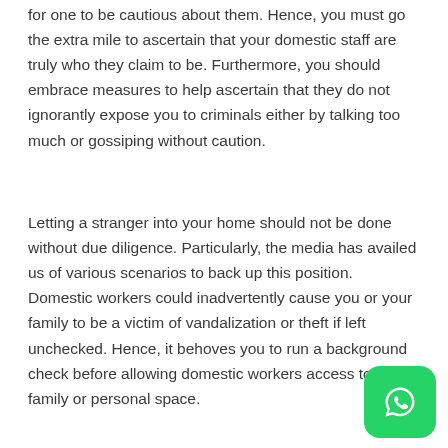for one to be cautious about them. Hence, you must go the extra mile to ascertain that your domestic staff are truly who they claim to be. Furthermore, you should embrace measures to help ascertain that they do not ignorantly expose you to criminals either by talking too much or gossiping without caution.
Letting a stranger into your home should not be done without due diligence. Particularly, the media has availed us of various scenarios to back up this position. Domestic workers could inadvertently cause you or your family to be a victim of vandalization or theft if left unchecked. Hence, it behoves you to run a background check before allowing domestic workers access to your family or personal space.
[Figure (logo): WhatsApp logo button, green rounded square with white phone handset icon]